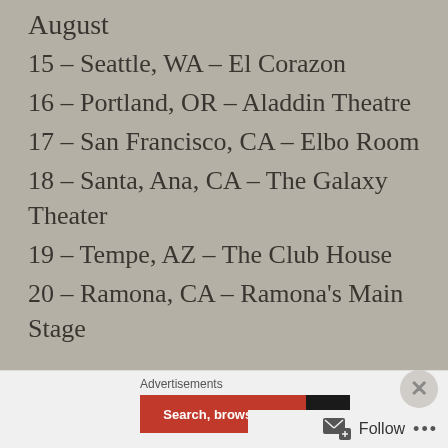August
15 – Seattle, WA – El Corazon
16 – Portland, OR – Aladdin Theatre
17 – San Francisco, CA – Elbo Room
18 – Santa, Ana, CA – The Galaxy Theater
19 – Tempe, AZ – The Club House
20 – Ramona, CA – Ramona's Main Stage
Advertisements  Search, browse, and email  Follow  ...